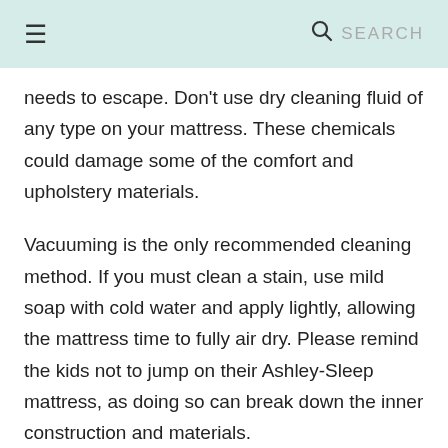≡  🔍 SEARCH
needs to escape. Don't use dry cleaning fluid of any type on your mattress. These chemicals could damage some of the comfort and upholstery materials.
Vacuuming is the only recommended cleaning method. If you must clean a stain, use mild soap with cold water and apply lightly, allowing the mattress time to fully air dry. Please remind the kids not to jump on their Ashley-Sleep mattress, as doing so can break down the inner construction and materials.
Ashley-Sleep does not recommend you use a quilted mattress pad as it will change the feel of the mattress you selected at the store. It may also trap heat that